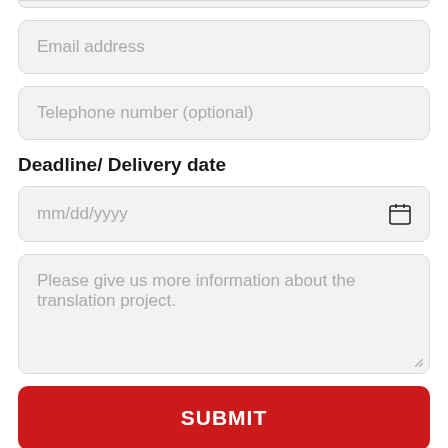[Figure (screenshot): Partial bottom edge of a form field (cropped at top of page)]
Email address
Telephone number (optional)
Deadline/ Delivery date
mm/dd/yyyy
Please give us more information about the translation project.
SUBMIT